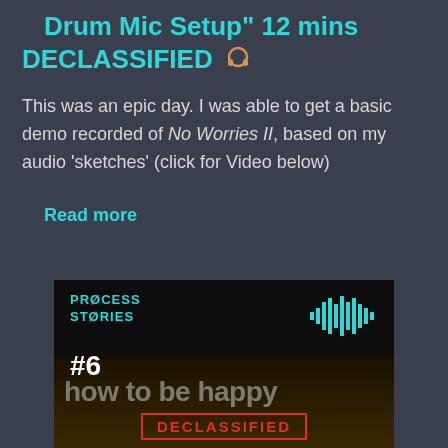Drum Mic Setup" 12 mins DECLASSIFIED 🎧
This was an epic day. I was able to get a basic demo recorded of No Worries II, based on my audio 'sketches' (click for Video below)
Read more
[Figure (screenshot): Thumbnail image for Process Stories #6 podcast/video episode. Dark background with 'PROCESS STORIES' in teal text top left, a teal audio waveform icon top right, '#6' in white bold text, 'how to be happy' in large faded text, and 'DECLASSIFIED' in red stamp-style text at the bottom.]